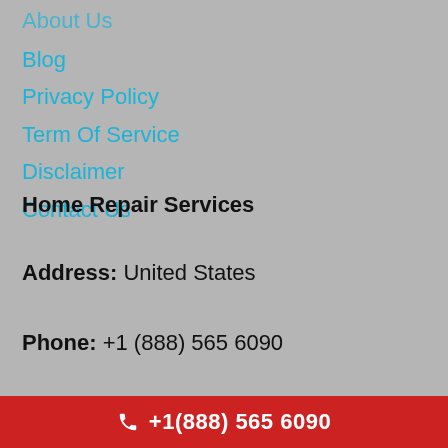About Us
Blog
Privacy Policy
Term Of Service
Disclaimer
Contact Us
Home Repair Services
Address:  United States
Phone: +1 (888) 565 6090
Working Hours:
+1(888) 565 6090